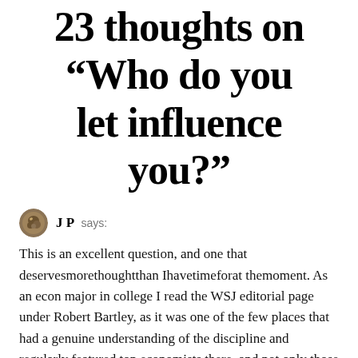23 thoughts on “Who do you let influence you?”
J P says:
This is an excellent question, and one that deservesmorethoughtthan Ihavetimeforat themoment. As an econ major in college I read the WSJ editorial page under Robert Bartley, as it was one of the few places that had a genuine understanding of the discipline and regularly featured top economists there, and not only those who the editors agreed with. Unfortunately, they also...